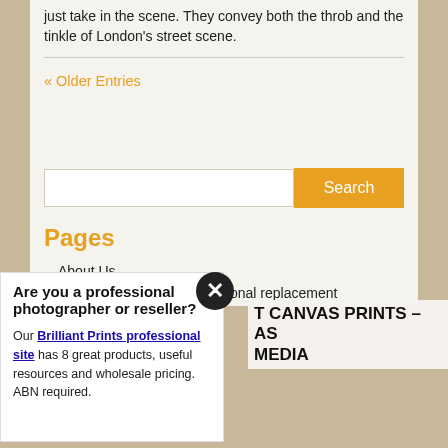just take in the scene. They convey both the throb and the tinkle of London's street scene.
« Older Entries
[Figure (screenshot): Search input field with orange Search button]
Pages
About Us
An amazing 75 ye... unconditional replacement
[Figure (screenshot): Popup overlay with close X button, asking 'Are you a professional photographer or reseller?' with text about Brilliant Prints professional site]
T CANVAS PRINTS – AS MEDIA